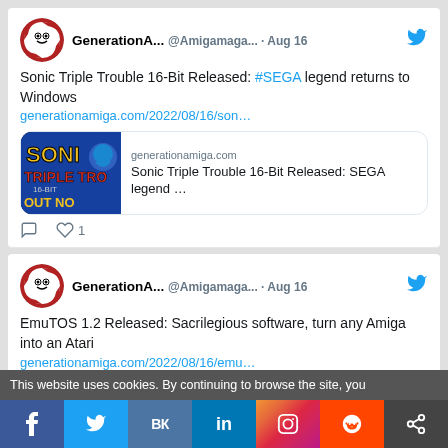[Figure (screenshot): Twitter/social media feed screenshot showing two tweet cards from GenerationA... @Amigamaga... dated Aug 16, with profile avatars, tweet text, link previews, and action buttons, plus cookie bar and social share buttons at the bottom]
GenerationA... @Amigamaga... · Aug 16 — Sonic Triple Trouble 16-Bit Released: #SEGA legend returns to Windows generationamiga.com/2022/08/16/son…
generationamiga.com — Sonic Triple Trouble 16-Bit Released: SEGA legend …
GenerationA... @Amigamaga... · Aug 16 — EmuTOS 1.2 Released: Sacrilegious software, turn any Amiga into an Atari generationamiga.com/2022/08/16/emu…
This website uses cookies. By continuing to browse the site, you
f  Twitter VK in Instagram Reddit share